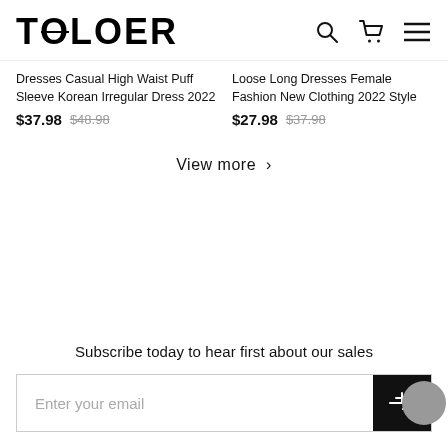TOLOER
Dresses Casual High Waist Puff Sleeve Korean Irregular Dress 2022
$37.98  $48.98
Loose Long Dresses Female Fashion New Clothing 2022 Style
$27.98  $37.98
View more >
Subscribe today to hear first about our sales
Enter your email